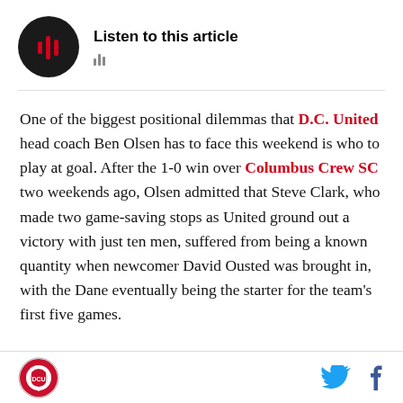[Figure (other): Audio player widget with black circular play button and 'Listen to this article' label with waveform icon]
One of the biggest positional dilemmas that D.C. United head coach Ben Olsen has to face this weekend is who to play at goal. After the 1-0 win over Columbus Crew SC two weekends ago, Olsen admitted that Steve Clark, who made two game-saving stops as United ground out a victory with just ten men, suffered from being a known quantity when newcomer David Ousted was brought in, with the Dane eventually being the starter for the team's first five games.
[Figure (logo): Small circular sports logo (DC United related) in footer, with Twitter and Facebook social icons on the right]